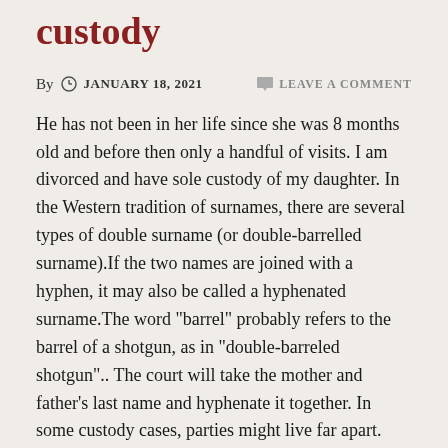custody
By  JANUARY 18, 2021     LEAVE A COMMENT
He has not been in her life since she was 8 months old and before then only a handful of visits. I am divorced and have sole custody of my daughter. In the Western tradition of surnames, there are several types of double surname (or double-barrelled surname).If the two names are joined with a hyphen, it may also be called a hyphenated surname.The word "barrel" probably refers to the barrel of a shotgun, as in "double-barreled shotgun".. The court will take the mother and father's last name and hyphenate it together. In some custody cases, parties might live far apart. This includes first, middle, and last names